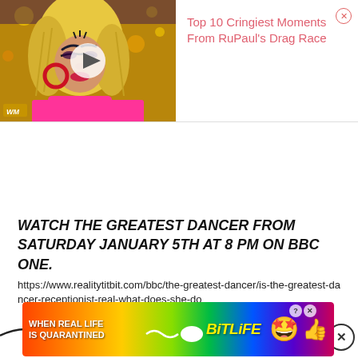[Figure (screenshot): Video thumbnail showing a drag queen performer with blonde hair, pink top, large red hoop earring, glittery background, with a play button overlay and WM logo. Adjacent text reads 'Top 10 Cringiest Moments From RuPaul's Drag Race' in pink with a close button.]
WATCH THE GREATEST DANCER FROM SATURDAY JANUARY 5TH AT 8 PM ON BBC ONE.
https://www.realitytitbit.com/bbc/the-greatest-dancer/is-the-greatest-dancer-receptionist-real-what-does-she-do
[Figure (screenshot): Bottom advertisement banner for BitLife game with rainbow gradient background. Left text: 'WHEN REAL LIFE IS QUARANTINED'. Center: sperm icon and BitLife logo in yellow. Right: purple star-eyes emoji and thumbs up emoji. Help and close buttons in top right corner.]